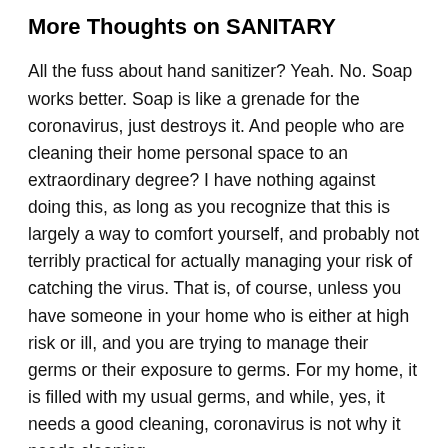More Thoughts on SANITARY
All the fuss about hand sanitizer? Yeah. No. Soap works better. Soap is like a grenade for the coronavirus, just destroys it. And people who are cleaning their home personal space to an extraordinary degree? I have nothing against doing this, as long as you recognize that this is largely a way to comfort yourself, and probably not terribly practical for actually managing your risk of catching the virus. That is, of course, unless you have someone in your home who is either at high risk or ill, and you are trying to manage their germs or their exposure to germs. For my home, it is filled with my usual germs, and while, yes, it needs a good cleaning, coronavirus is not why it needs cleaning.
I've encountered people who believe witch hazel will be